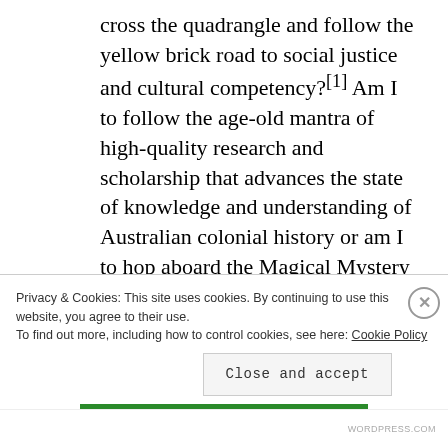cross the quadrangle and follow the yellow brick road to social justice and cultural competency?[1] Am I to follow the age-old mantra of high-quality research and scholarship that advances the state of knowledge and understanding of Australian colonial history or am I to hop aboard the Magical Mystery Tour and go with the flow to la-la land where the sheepdog drives the station ute, the sheep roll around
Privacy & Cookies: This site uses cookies. By continuing to use this website, you agree to their use.
To find out more, including how to control cookies, see here: Cookie Policy
Close and accept
WORDPRESS.COM